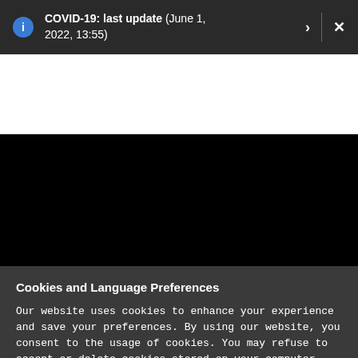COVID-19: last update (June 1, 2022, 13:55)
[Figure (screenshot): White blank area representing website content area]
[Figure (screenshot): Black area representing a video or media embed]
Cookies and Language Preferences
Our website uses cookies to enhance your experience and save your preferences. By using our website, you consent to the usage of cookies. You may refuse to accept or delete cookies stored on your computer through the settings of your web browser. Read our